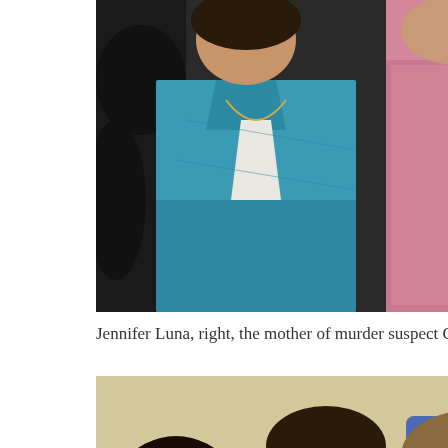[Figure (photo): Two women side by side; one in a teal/turquoise jacket, the other in a pink shirt, partially cropped at top of page.]
Jennifer Luna, right, the mother of murder suspect Chancey Lun
[Figure (photo): Three people in an indoor setting; two younger women on the left and an older woman with glasses wearing a pink shirt on the right, appearing distressed.]